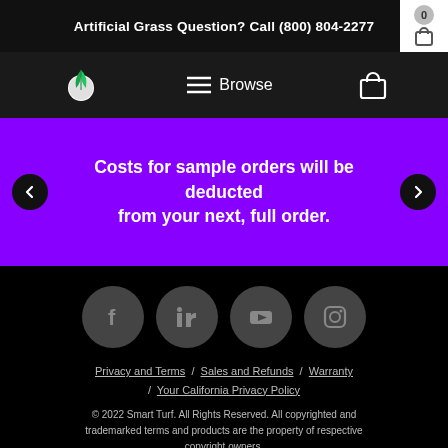Artificial Grass Question? Call (800) 804-2277
[Figure (screenshot): Navigation bar with Smart Turf logo (green leaf), Browse menu icon, and shopping bag icon]
Costs for sample orders will be deducted from your next, full order.
[Figure (illustration): Social media icons: Facebook, LinkedIn, YouTube, Instagram — dark gray circles on black background]
Privacy and Terms / Sales and Refunds / Warranty / Your California Privacy Policy
© 2022 Smart Turf. All Rights Reserved. All copyrighted and trademarked terms and products are the property of respective copyright owners.